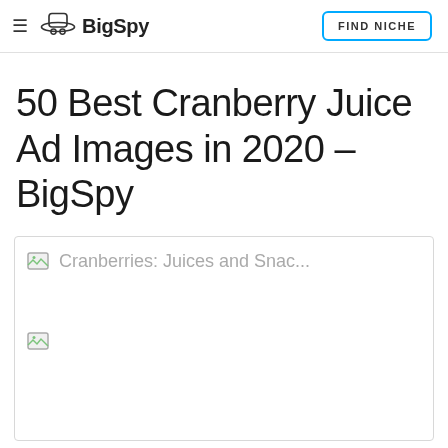BigSpy | FIND NICHE
50 Best Cranberry Juice Ad Images in 2020 – BigSpy
[Figure (screenshot): A card/box element containing a broken image icon followed by the text 'Cranberries: Juices and Snac...' and a second broken image icon below]
Cranberries: Juices and Snac...